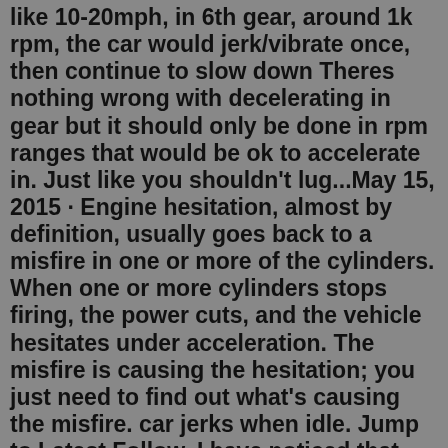like 10-20mph, in 6th gear, around 1k rpm, the car would jerk/vibrate once, then continue to slow down Theres nothing wrong with decelerating in gear but it should only be done in rpm ranges that would be ok to accelerate in. Just like you shouldn't lug...May 15, 2015 · Engine hesitation, almost by definition, usually goes back to a misfire in one or more of the cylinders. When one or more cylinders stops firing, the power cuts, and the vehicle hesitates under acceleration. The misfire is causing the hesitation; you just need to find out what's causing the misfire. car jerks when idle. Jump to Latest Follow. I have noticed that the car shudders/jerks a little when idle and when I push acceleration when in neutral or P gear position I can reproduce the shudders again with increased frequency.Driving a car that jerks when accelerating at high speeds is a safety hazard for both you and your passengers. If your car jerks when accelerating at high speeds, airflow may be causing the hesitation. Possibly a clogged air inlet or the replacement of a malfunctioning mass airflow sensor. Car Jerks When